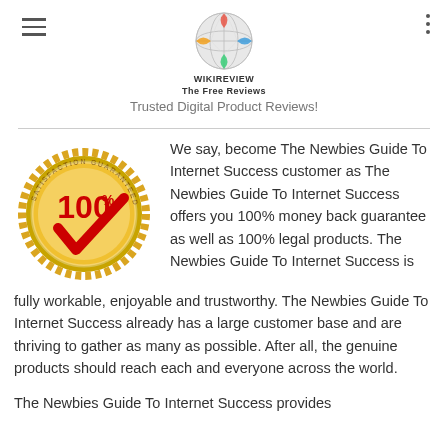WIKIREVIEW
The Free Reviews
Trusted Digital Product Reviews!
[Figure (illustration): 100% Satisfaction Guaranteed gold seal badge with red checkmark]
We say, become The Newbies Guide To Internet Success customer as The Newbies Guide To Internet Success offers you 100% money back guarantee as well as 100% legal products. The Newbies Guide To Internet Success is fully workable, enjoyable and trustworthy. The Newbies Guide To Internet Success already has a large customer base and are thriving to gather as many as possible. After all, the genuine products should reach each and everyone across the world.
The Newbies Guide To Internet Success provides